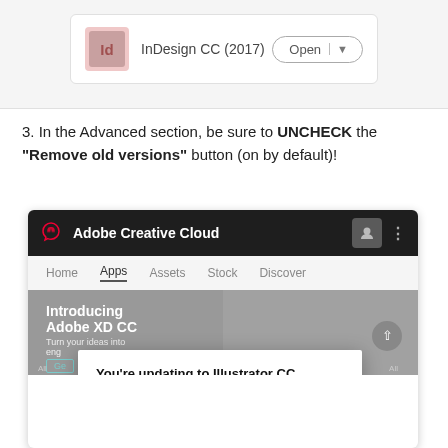[Figure (screenshot): Adobe Creative Cloud desktop app showing InDesign CC (2017) with an Open button]
3. In the Advanced section, be sure to UNCHECK the "Remove old versions" button (on by default)!
[Figure (screenshot): Adobe Creative Cloud application window showing Apps tab with a popup dialog 'You're updating to Illustrator CC' explaining compatible settings will be moved and older CC versions will not be removed.]